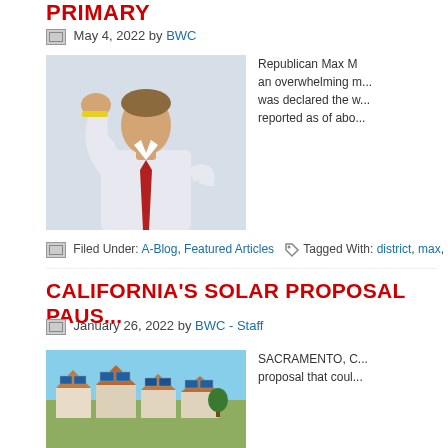PRIMARY
May 4, 2022 by BWC
[Figure (photo): Man in white shirt and red tie raising fist in the air]
Republican Max M... an overwhelming m... was declared the w... reported as of abo...
Filed Under: A-Blog, Featured Articles   Tagged With: district, max, m...
CALIFORNIA'S SOLAR PROPOSAL PAUS...
January 26, 2022 by BWC - Staff
[Figure (photo): Aerial view of houses with solar panels in California suburb]
SACRAMENTO, C... proposal that coul...